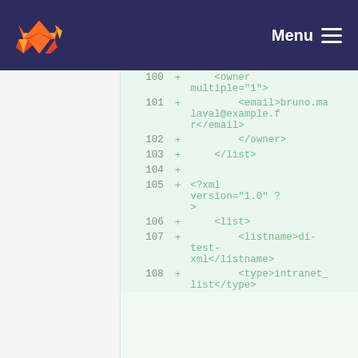Menu
[Figure (screenshot): GitLab code diff view showing XML file lines 100-108 with added lines (+) including owner element with multiple attribute, email element, closing owner and list tags, xml declaration, list element, listname element, and type element.]